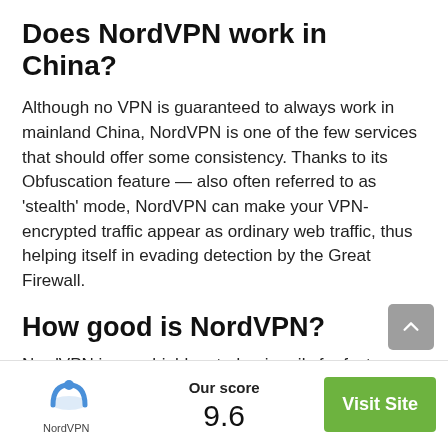Does NordVPN work in China?
Although no VPN is guaranteed to always work in mainland China, NordVPN is one of the few services that should offer some consistency. Thanks to its Obfuscation feature — also often referred to as ‘stealth’ mode, NordVPN can make your VPN-encrypted traffic appear as ordinary web traffic, thus helping itself in evading detection by the Great Firewall.
How good is NordVPN?
NordVPN is very highly rated, primarily for fast
[Figure (logo): NordVPN logo: blue arch/mountain symbol above text 'NordVPN']
Our score
9.6
Visit Site